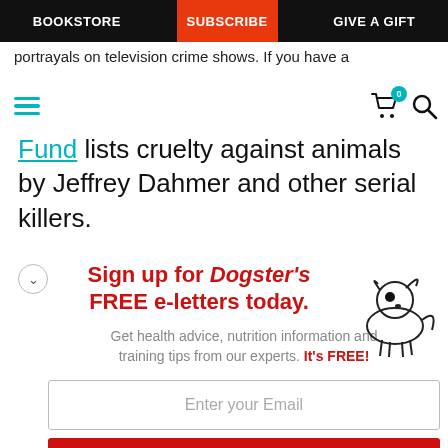BOOKSTORE | SUBSCRIBE | GIVE A GIFT
portrayals on television crime shows. If you have a
Fund lists cruelty against animals by Jeffrey Dahmer and other serial killers.
[Figure (infographic): Newsletter signup banner for Dogster with dog illustration: Sign up for Dogster's FREE e-letters today. Get health advice, nutrition information and training tips from our experts. It's FREE! Email input field and YES! SIGN ME UP button.]